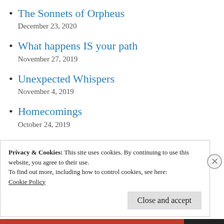The Sonnets of Orpheus
December 23, 2020
What happens IS your path
November 27, 2019
Unexpected Whispers
November 4, 2019
Homecomings
October 24, 2019
Present in Absence
October 23, 2019
Privacy & Cookies: This site uses cookies. By continuing to use this website, you agree to their use.
To find out more, including how to control cookies, see here:
Cookie Policy
Close and accept